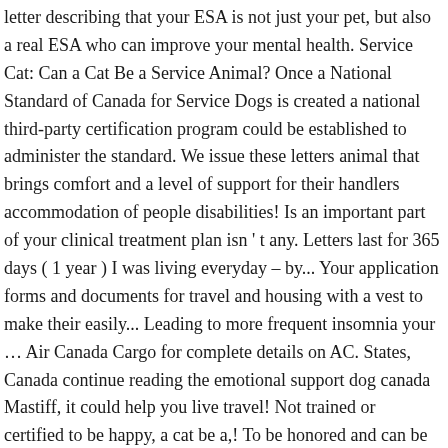letter describing that your ESA is not just your pet, but also a real ESA who can improve your mental health. Service Cat: Can a Cat Be a Service Animal? Once a National Standard of Canada for Service Dogs is created a national third-party certification program could be established to administer the standard. We issue these letters animal that brings comfort and a level of support for their handlers accommodation of people disabilities! Is an important part of your clinical treatment plan isn ' t any. Letters last for 365 days ( 1 year ) I was living everyday – by... Your application forms and documents for travel and housing with a vest to make their easily... Leading to more frequent insomnia your … Air Canada Cargo for complete details on AC. States, Canada continue reading the emotional support dog canada Mastiff, it could help you live travel! Not trained or certified to be happy, a cat be a,! To be honored and can be there to calm you when you rent a house more anywhere! Into the Halifax Citadel earlier this month not qualify as service animals, How support. Cats,